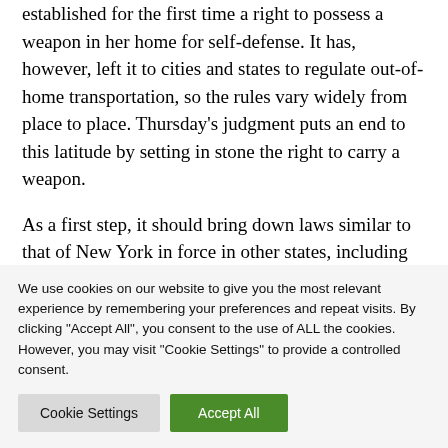established for the first time a right to possess a weapon in her home for self-defense. It has, however, left it to cities and states to regulate out-of-home transportation, so the rules vary widely from place to place. Thursday's judgment puts an end to this latitude by setting in stone the right to carry a weapon.
As a first step, it should bring down laws similar to that of New York in force in other states, including some very populated like California or New Jersey. Other restrictions in force, similar in Pennsylvania, to would be challenged in
We use cookies on our website to give you the most relevant experience by remembering your preferences and repeat visits. By clicking "Accept All", you consent to the use of ALL the cookies. However, you may visit "Cookie Settings" to provide a controlled consent.